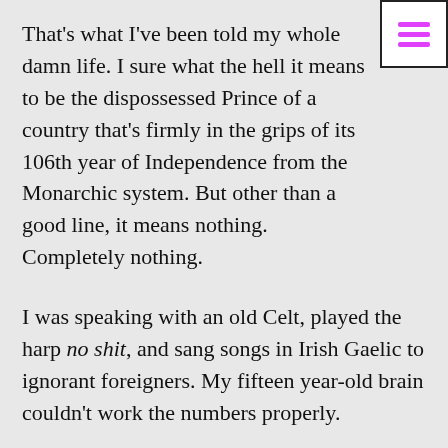That's what I've been told my whole damn life. I sure what the hell it means to be the dispossessed Prince of a country that's firmly in the grips of its 106th year of Independence from the Monarchic system. But other than a good line, it means nothing. Completely nothing.
I was speaking with an old Celt, played the harp no shit, and sang songs in Irish Gaelic to ignorant foreigners. My fifteen year-old brain couldn't work the numbers properly.
"So, you're telling me that... there are like six times as many people in America that call themselves Irish... than there are people in all of Ireland?"